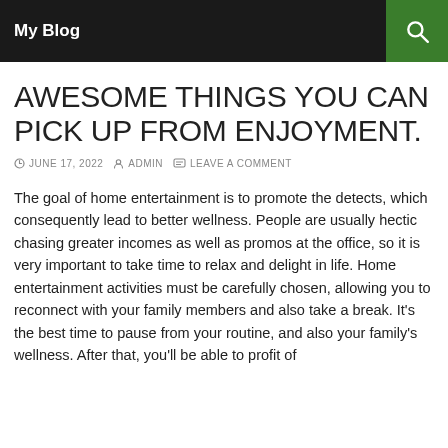My Blog
AWESOME THINGS YOU CAN PICK UP FROM ENJOYMENT.
JUNE 17, 2022   ADMIN   LEAVE A COMMENT
The goal of home entertainment is to promote the detects, which consequently lead to better wellness. People are usually hectic chasing greater incomes as well as promos at the office, so it is very important to take time to relax and delight in life. Home entertainment activities must be carefully chosen, allowing you to reconnect with your family members and also take a break. It's the best time to pause from your routine, and also your family's wellness. After that, you'll be able to profit of